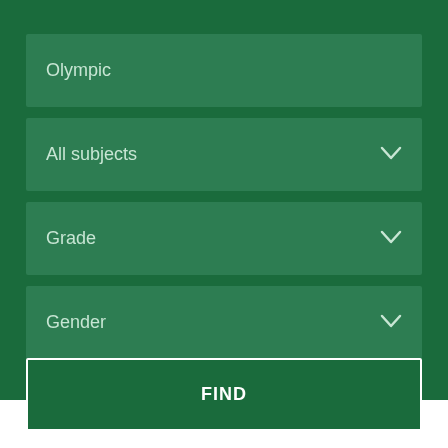Olympic
All subjects
Grade
Gender
FIND